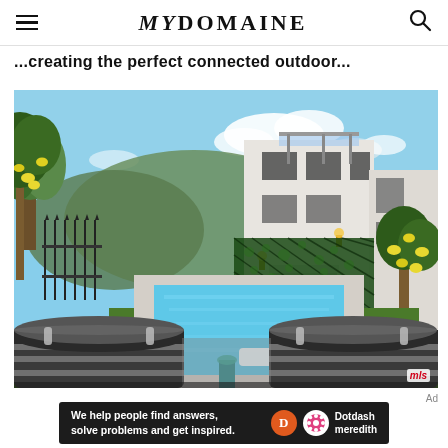MYDOMAINE
...creating the perfect connected outdoor...
[Figure (photo): Outdoor backyard view of a modern home featuring a rectangular lap pool surrounded by artificial grass, dark chaise lounge chairs with white stripes in the foreground, a lattice trellis with greenery and lemon trees on the right wall, and a multi-story white stucco house in the background with steps leading down to the pool area, hills visible in the background under a blue sky with some clouds. MLS watermark visible in the bottom right corner.]
Ad
We help people find answers, solve problems and get inspired. Dotdash meredith